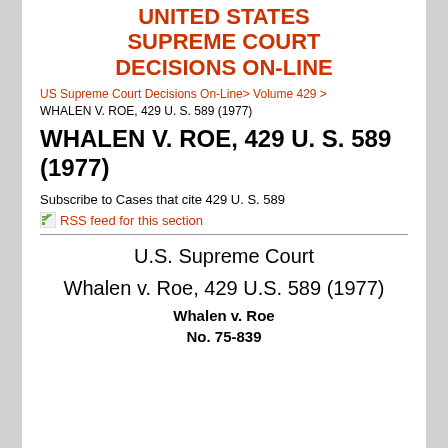UNITED STATES SUPREME COURT DECISIONS ON-LINE
US Supreme Court Decisions On-Line > Volume 429 > WHALEN V. ROE, 429 U. S. 589 (1977)
WHALEN V. ROE, 429 U. S. 589 (1977)
Subscribe to Cases that cite 429 U. S. 589
RSS feed for this section
U.S. Supreme Court
Whalen v. Roe, 429 U.S. 589 (1977)
Whalen v. Roe
No. 75-839